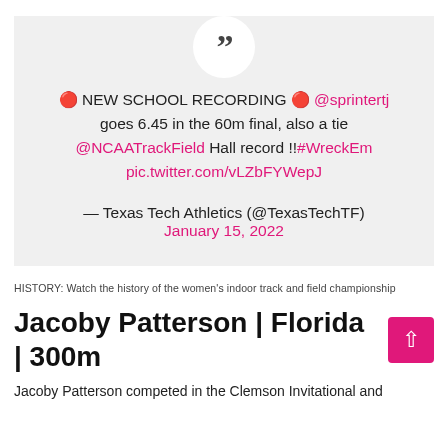🔴 NEW SCHOOL RECORDING 🔴 @sprintertj goes 6.45 in the 60m final, also a tie @NCAATrackField Hall record !!#WreckEm pic.twitter.com/vLZbFYWepJ
— Texas Tech Athletics (@TexasTechTF)
January 15, 2022
HISTORY: Watch the history of the women's indoor track and field championship
Jacoby Patterson | Florida | 300m
Jacoby Patterson competed in the Clemson Invitational and